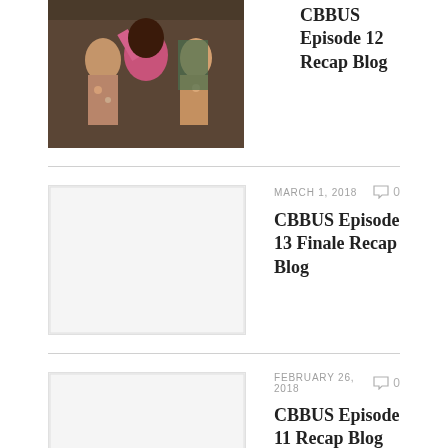[Figure (photo): Photo of people at an event, person in pink top with arms raised]
CBBUS Episode 12 Recap Blog
MARCH 1, 2018
0
CBBUS Episode 13 Finale Recap Blog
FEBRUARY 26, 2018
0
CBBUS Episode 11 Recap Blog
FEBRUARY 24, 2018
0